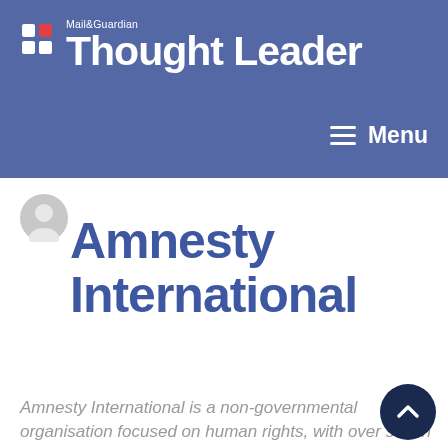Mail&Guardian Thought Leader — Menu
[Figure (logo): Mail&Guardian Thought Leader logo with white icon and white text on blue background, with Menu hamburger icon top right]
Amnesty International
Amnesty International is a non-governmental organisation focused on human rights, with over seven million members and supporters around the world. The Southern African regional office of the International Secretariat is